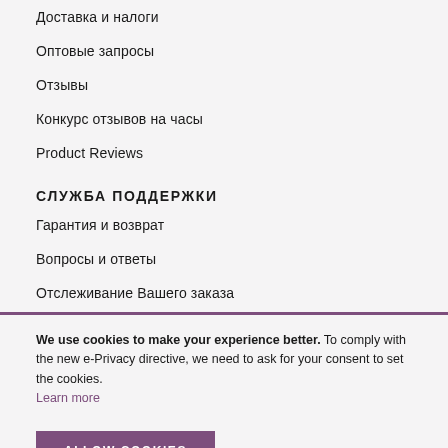Доставка и налоги
Оптовые запросы
Отзывы
Конкурс отзывов на часы
Product Reviews
СЛУЖБА ПОДДЕРЖКИ
Гарантия и возврат
Вопросы и ответы
Отслеживание Вашего заказа
We use cookies to make your experience better. To comply with the new e-Privacy directive, we need to ask for your consent to set the cookies. Learn more